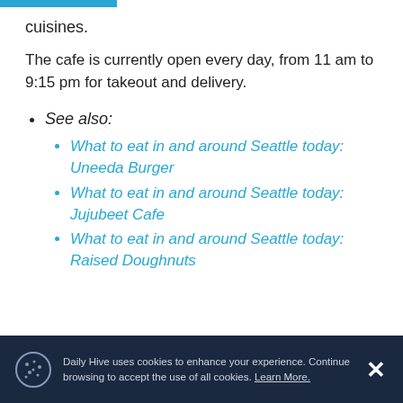cuisines.
The cafe is currently open every day, from 11 am to 9:15 pm for takeout and delivery.
See also:
What to eat in and around Seattle today: Uneeda Burger
What to eat in and around Seattle today: Jujubeet Cafe
What to eat in and around Seattle today: Raised Doughnuts
Daily Hive uses cookies to enhance your experience. Continue browsing to accept the use of all cookies. Learn More.